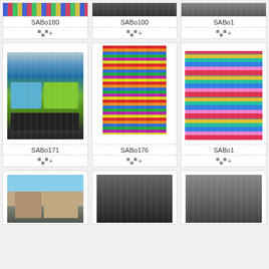[Figure (photo): Top partial row of photo cards: SABo180 (colorful textile), SABo100 (dark street/building), SABo1xx (partially visible)]
SABo180
SABo100
SABo1
[Figure (photo): Colorful buses parked on street - SABo171]
SABo171
[Figure (photo): Colorful hanging textiles/fabrics market display - SABo176]
SABo176
[Figure (photo): Stacked colorful striped fabrics/textiles - SABo1xx]
SABo1
[Figure (photo): Street scene with buildings - bottom row partial]
[Figure (photo): Dark image - bottom row partial]
[Figure (photo): Partial image - bottom row]